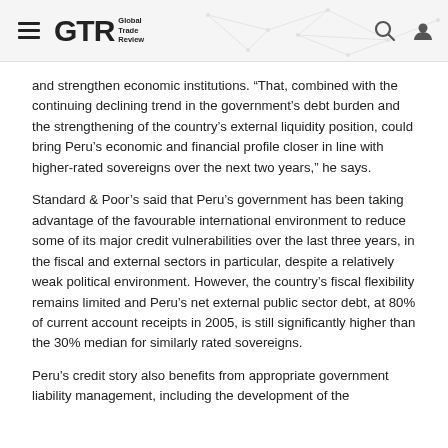GTR Global Trade Review
and strengthen economic institutions. “That, combined with the continuing declining trend in the government’s debt burden and the strengthening of the country’s external liquidity position, could bring Peru’s economic and financial profile closer in line with higher-rated sovereigns over the next two years,” he says.
Standard & Poor’s said that Peru’s government has been taking advantage of the favourable international environment to reduce some of its major credit vulnerabilities over the last three years, in the fiscal and external sectors in particular, despite a relatively weak political environment. However, the country’s fiscal flexibility remains limited and Peru’s net external public sector debt, at 80% of current account receipts in 2005, is still significantly higher than the 30% median for similarly rated sovereigns.
Peru’s credit story also benefits from appropriate government liability management, including the development of the